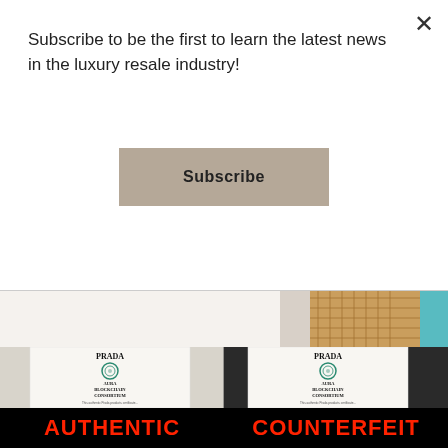Subscribe to be the first to learn the latest news in the luxury resale industry!
Subscribe
[Figure (photo): Partial view of colorful luxury handbags — a brown/gold woven pattern bag and a blue/teal bag visible at top]
[Figure (photo): Side-by-side comparison of two Prada Aura Blockchain Consortium authenticity cards — one labeled AUTHENTIC (left) and one labeled COUNTERFEIT (right), each showing the Prada name, a green circular logo, and text about the certificate being uploaded on Aura Blockchain Consortium's platform. Behind the left card are hands holding papers; behind the right card is a black Prada nylon bag.]
AUTHENTIC
COUNTERFEIT